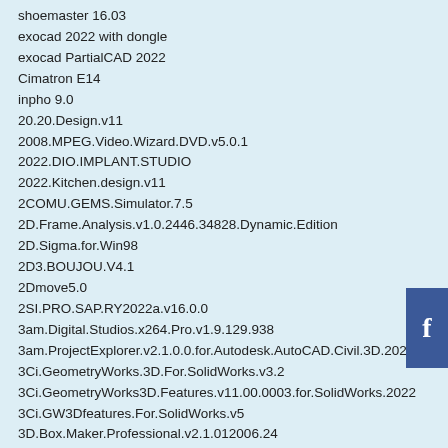shoemaster 16.03
exocad 2022 with dongle
exocad PartialCAD 2022
Cimatron E14
inpho 9.0
20.20.Design.v11
2008.MPEG.Video.Wizard.DVD.v5.0.1
2022.DIO.IMPLANT.STUDIO
2022.Kitchen.design.v11
2COMU.GEMS.Simulator.7.5
2D.Frame.Analysis.v1.0.2446.34828.Dynamic.Edition
2D.Sigma.for.Win98
2D3.BOUJOU.V4.1
2Dmove5.0
2SI.PRO.SAP.RY2022a.v16.0.0
3am.Digital.Studios.x264.Pro.v1.9.129.938
3am.ProjectExplorer.v2.1.0.0.for.Autodesk.AutoCAD.Civil.3D.2022
3Ci.GeometryWorks.3D.For.SolidWorks.v3.2
3Ci.GeometryWorks3D.Features.v11.00.0003.for.SolidWorks.2022
3Ci.GW3Dfeatures.For.SolidWorks.v5
3D.Box.Maker.Professional.v2.1.012006.24
3D.Brush.v2.03.SP2
3D.Canvas.Pro.v6.0.1.1
3D.COAT.v4.5.16
3D.Doctor.v3.5.Dicom.Pacs